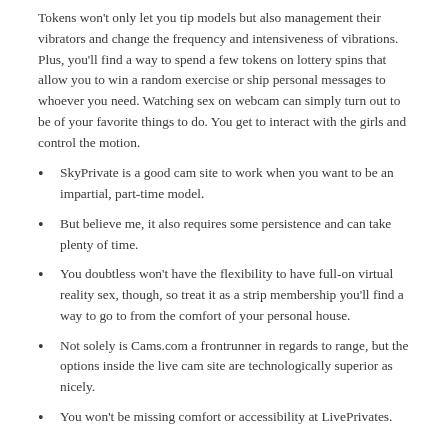Tokens won't only let you tip models but also management their vibrators and change the frequency and intensiveness of vibrations. Plus, you'll find a way to spend a few tokens on lottery spins that allow you to win a random exercise or ship personal messages to whoever you need. Watching sex on webcam can simply turn out to be of your favorite things to do. You get to interact with the girls and control the motion.
SkyPrivate is a good cam site to work when you want to be an impartial, part-time model.
But believe me, it also requires some persistence and can take plenty of time.
You doubtless won't have the flexibility to have full-on virtual reality sex, though, so treat it as a strip membership you'll find a way to go to from the comfort of your personal house.
Not solely is Cams.com a frontrunner in regards to range, but the options inside the live cam site are technologically superior as nicely.
You won't be missing comfort or accessibility at LivePrivates.